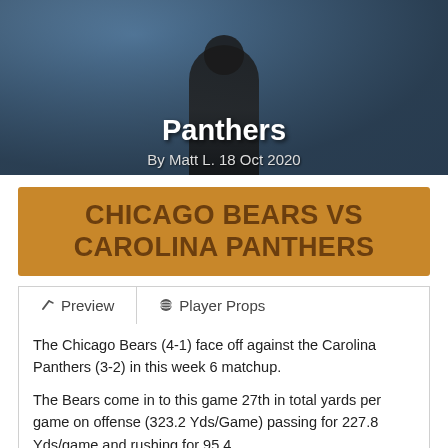[Figure (photo): Hero image of a Carolina Panthers football player in uniform with blurred crowd background]
Panthers
By Matt L. 18 Oct 2020
CHICAGO BEARS VS CAROLINA PANTHERS
Preview | Player Props (tab navigation)
The Chicago Bears (4-1) face off against the Carolina Panthers (3-2) in this week 6 matchup.
The Bears come in to this game 27th in total yards per game on offense (323.2 Yds/Game) passing for 227.8 Yds/game and rushing for 95.4